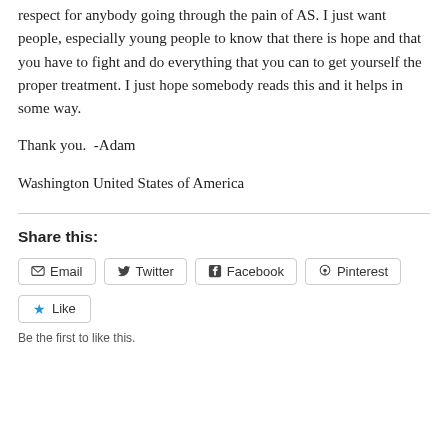respect for anybody going through the pain of AS. I just want people, especially young people to know that there is hope and that you have to fight and do everything that you can to get yourself the proper treatment. I just hope somebody reads this and it helps in some way.
Thank you.  -Adam
Washington United States of America
Share this:
Email  Twitter  Facebook  Pinterest
Like
Be the first to like this.